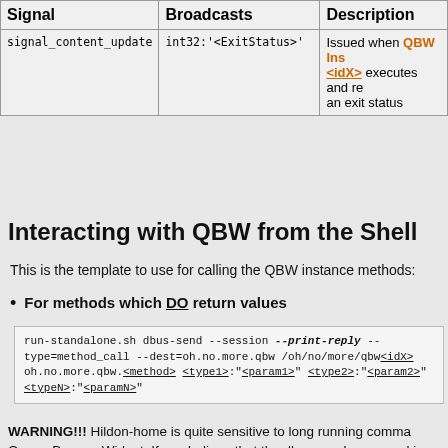| Signal | Broadcasts | Description |
| --- | --- | --- |
| signal_content_update | int32:'<ExitStatus>' | Issued when QBW Instance <idX> executes and returns an exit status |
Interacting with QBW from the Shell
This is the template to use for calling the QBW instance methods:
For methods which DO return values
run-standalone.sh dbus-send --session --print-reply --type=method_call --dest=oh.no.more.qbw /oh/no/more/qbw<idX> oh.no.more.qbw.<method> <type1>:"<param1>" <type2>:"<param2>" <typeN>:"<paramN>"
WARNING!!! Hildon-home is quite sensitive to long running commands ran through Queen Beecon Widget. If you believe that the dbus-send command is going to take much time (say >2/3 secs) it is better if you add the --reply-timeout=<milliseconds> to the dbus-send list of parameters
For methods which DO NOT return values
run-standalone.sh dbus-send --session --type=method_call --dest=oh.no.more.qbw /oh/no/more/qbw<idX> oh.no.more.qbw.<method> <type1>:"<param1>" <type2>:"<param2>" <typeN>:"<paramN>"